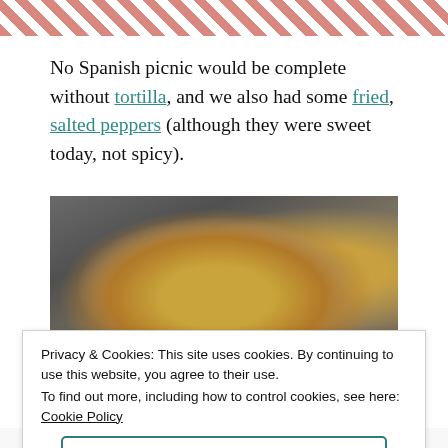[Figure (photo): Top portion of a photo showing a red and white checkered picnic tablecloth pattern]
No Spanish picnic would be complete without tortilla, and we also had some fried, salted peppers (although they were sweet today, not spicy).
[Figure (photo): Photo of food wrapped in aluminum foil on a red and white checkered tablecloth picnic table, with a bottle of olive oil and other items visible]
Privacy & Cookies: This site uses cookies. By continuing to use this website, you agree to their use.
To find out more, including how to control cookies, see here: Cookie Policy
Close and accept